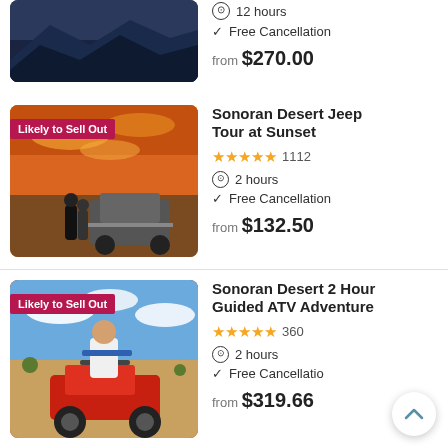[Figure (photo): Partial top listing: dark desert mountain landscape photo, partially cropped at top]
12 hours
Free Cancellation
from $270.00
[Figure (photo): Sonoran Desert Jeep Tour at Sunset: two people standing by an off-road vehicle at sunset with orange sky]
Sonoran Desert Jeep Tour at Sunset
★★★★★ 1112
2 hours
Free Cancellation
from $132.50
[Figure (photo): Sonoran Desert 2 Hour Guided ATV Adventure: person riding a red ATV in desert with blue sky]
Sonoran Desert 2 Hour Guided ATV Adventure
★★★★★ 360
2 hours
Free Cancellation
from $319.66